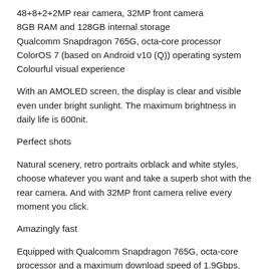48+8+2+2MP rear camera, 32MP front camera
8GB RAM and 128GB internal storage
Qualcomm Snapdragon 765G, octa-core processor
ColorOS 7 (based on Android v10 (Q)) operating system
Colourful visual experience
With an AMOLED screen, the display is clear and visible even under bright sunlight. The maximum brightness in daily life is 600nit.
Perfect shots
Natural scenery, retro portraits orblack and white styles, choose whatever you want and take a superb shot with the rear camera. And with 32MP front camera relive every moment you click.
Amazingly fast
Equipped with Qualcomm Snapdragon 765G, octa-core processor and a maximum download speed of 1.9Gbps, Find X2 Lite easily meets your speed demands.
Uninterrupted performance